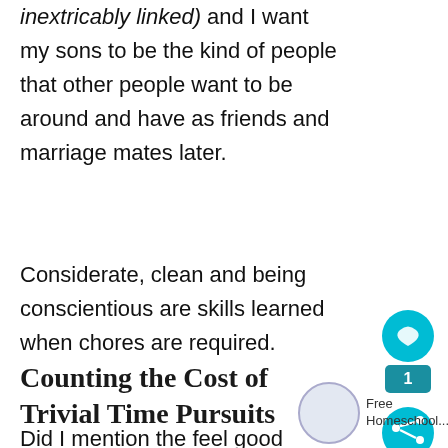inextricably linked) and I want my sons to be the kind of people that other people want to be around and have as friends and marriage mates later.
Considerate, clean and being conscientious are skills learned when chores are required.
Counting the Cost of Trivial Time Pursuits
Did I mention the feel good moment